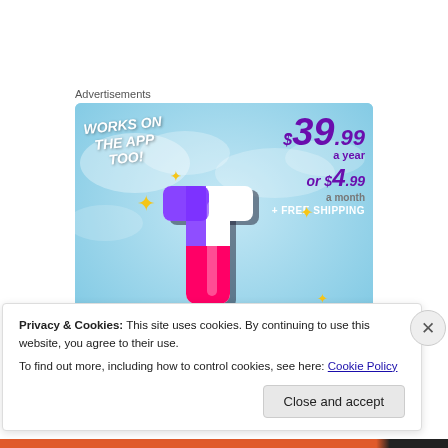Advertisements
[Figure (illustration): Advertisement banner for a subscription service: sky-blue background with clouds, bold italic text 'WORKS ON THE APP TOO!' on left, large purple italic price '$39.99 a year or $4.99 a month + FREE SHIPPING' on right, large stylized 't' logo in center with yellow sparkle stars, white wave at bottom.]
Privacy & Cookies: This site uses cookies. By continuing to use this website, you agree to their use.
To find out more, including how to control cookies, see here: Cookie Policy
Close and accept